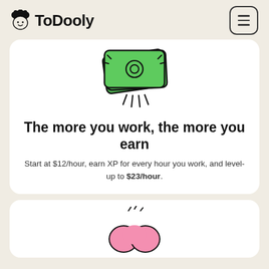ToDooly
[Figure (illustration): Green illustrated money/cash stack with shine lines below, on a white rounded card]
The more you work, the more you earn
Start at $12/hour, earn XP for every hour you work, and level-up to $23/hour.
[Figure (illustration): Pink illustrated heart/flower shape with hand-drawn marks above, partially visible at bottom of page]